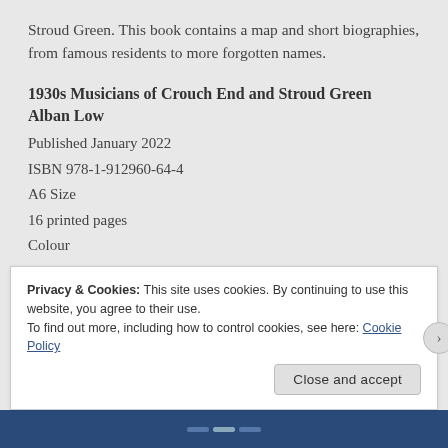Stroud Green. This book contains a map and short biographies, from famous residents to more forgotten names.
1930s Musicians of Crouch End and Stroud Green
Alban Low
Published January 2022
ISBN 978-1-912960-64-4
A6 Size
16 printed pages
Colour
A World in London Chapbook 10
SLR0177
Privacy & Cookies: This site uses cookies. By continuing to use this website, you agree to their use.
To find out more, including how to control cookies, see here: Cookie Policy
Close and accept